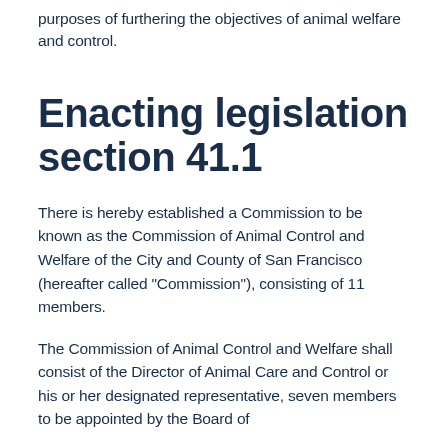purposes of furthering the objectives of animal welfare and control.
Enacting legislation section 41.1
There is hereby established a Commission to be known as the Commission of Animal Control and Welfare of the City and County of San Francisco (hereafter called "Commission"), consisting of 11 members.
The Commission of Animal Control and Welfare shall consist of the Director of Animal Care and Control or his or her designated representative, seven members to be appointed by the Board of